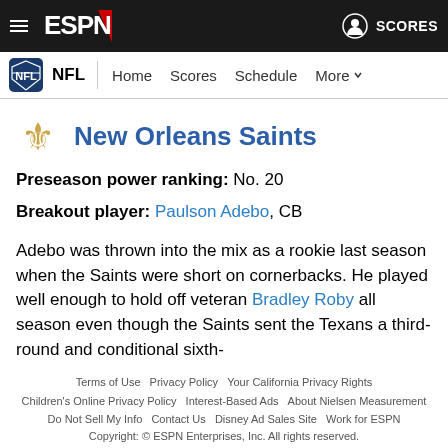ESPN NFL Navigation
New Orleans Saints
Preseason power ranking: No. 20
Breakout player: Paulson Adebo, CB
Adebo was thrown into the mix as a rookie last season when the Saints were short on cornerbacks. He played well enough to hold off veteran Bradley Roby all season even though the Saints sent the Texans a third-round and conditional sixth-
Terms of Use  Privacy Policy  Your California Privacy Rights  Children's Online Privacy Policy  Interest-Based Ads  About Nielsen Measurement  Do Not Sell My Info  Contact Us  Disney Ad Sales Site  Work for ESPN  Copyright: © ESPN Enterprises, Inc. All rights reserved.